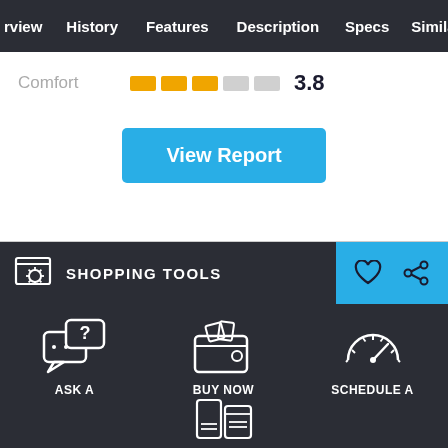rview | History | Features | Description | Specs | Similar
[Figure (screenshot): Comfort rating row with 3 filled orange bars and 2 grey bars, rating 3.8]
Comfort 3.8
View Report
SHOPPING TOOLS
ASK A QUESTION
BUY NOW PRICE
SCHEDULE A TEST DRIVE